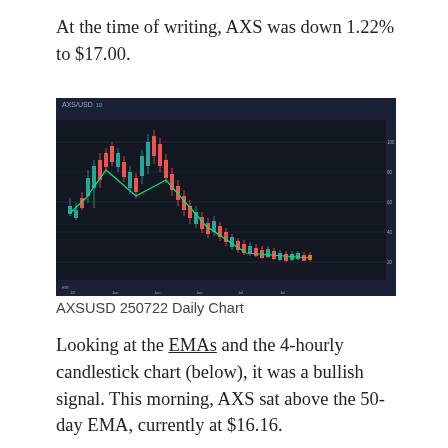At the time of writing, AXS was down 1.22% to $17.00.
[Figure (screenshot): AXS/USD daily candlestick chart showing a strong rally followed by a prolonged downtrend, with red and green candles on a dark background. Price peaked then declined steadily toward the right side of the chart.]
AXSUSD 250722 Daily Chart
Looking at the EMAs and the 4-hourly candlestick chart (below), it was a bullish signal. This morning, AXS sat above the 50-day EMA, currently at $16.16.